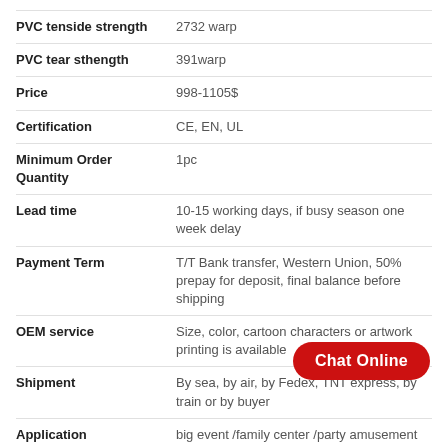| Property | Value |
| --- | --- |
| PVC tenside strength | 2732 warp |
| PVC tear sthength | 391warp |
| Price | 998-1105$ |
| Certification | CE, EN, UL |
| Minimum Order Quantity | 1pc |
| Lead time | 10-15 working days, if busy season one week delay |
| Payment Term | T/T Bank transfer, Western Union, 50% prepay for deposit, final balance before shipping |
| OEM service | Size, color, cartoon characters or artwork printing is available |
| Shipment | By sea, by air, by Fedex, TNT express, by train or by buyer |
| Application | big event /family center /party amusement park, Rental business, amusement parks, playing center, outdoor backyard fun and any other business functions. |
Chat Online